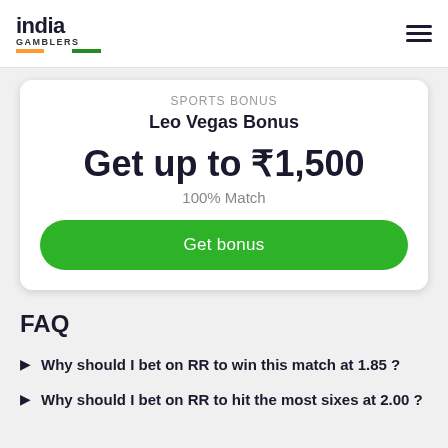india GAMBLERS
SPORTS BONUS
Leo Vegas Bonus
Get up to ₹1,500
100% Match
Get bonus
FAQ
Why should I bet on RR to win this match at 1.85 ?
Why should I bet on RR to hit the most sixes at 2.00 ?